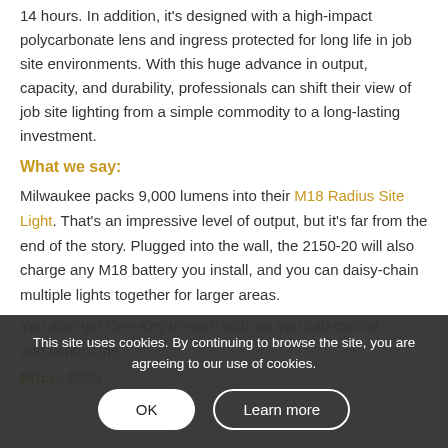14 hours. In addition, it's designed with a high-impact polycarbonate lens and ingress protected for long life in job site environments. With this huge advance in output, capacity, and durability, professionals can shift their view of job site lighting from a simple commodity to a long-lasting investment.
What we say:
Milwaukee packs 9,000 lumens into their M18 Radius Site Light. That's an impressive level of output, but it's far from the end of the story. Plugged into the wall, the 2150-20 will also charge any M18 battery you install, and you can daisy-chain multiple lights together for larger areas.
You also get One-Key to work with, so you can control and control the...
Price: $599
This site uses cookies. By continuing to browse the site, you are agreeing to our use of cookies.